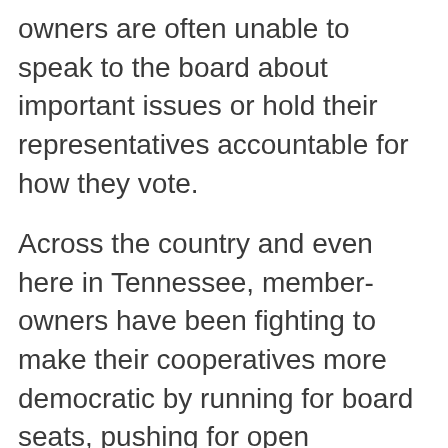owners are often unable to speak to the board about important issues or hold their representatives accountable for how they vote.
Across the country and even here in Tennessee, member-owners have been fighting to make their cooperatives more democratic by running for board seats, pushing for open meetings, and proposing amendments to their bylaws. For helpful resources on how to start organizing at your electric cooperative, check out this toolkit by New Economy